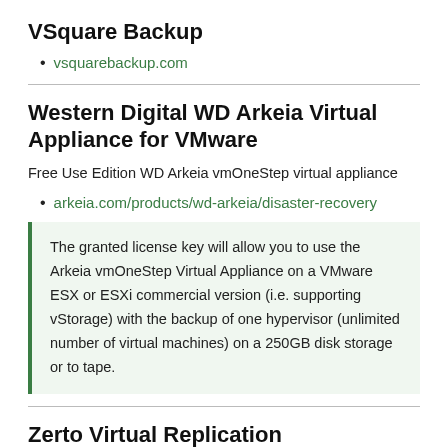VSquare Backup
vsquarebackup.com
Western Digital WD Arkeia Virtual Appliance for VMware
Free Use Edition WD Arkeia vmOneStep virtual appliance
arkeia.com/products/wd-arkeia/disaster-recovery
The granted license key will allow you to use the Arkeia vmOneStep Virtual Appliance on a VMware ESX or ESXi commercial version (i.e. supporting vStorage) with the backup of one hypervisor (unlimited number of virtual machines) on a 250GB disk storage or to tape.
Zerto Virtual Replication
VMware DR Features. More of a mirroring solution across locations, not so much a backup solution.